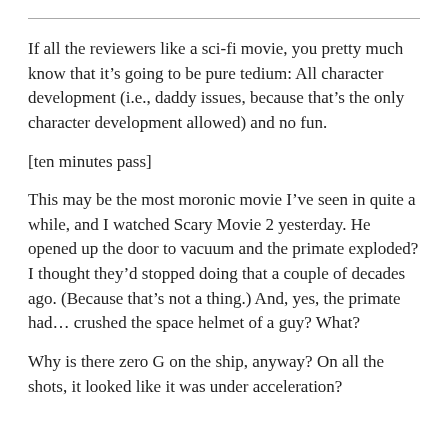If all the reviewers like a sci-fi movie, you pretty much know that it’s going to be pure tedium: All character development (i.e., daddy issues, because that’s the only character development allowed) and no fun.
[ten minutes pass]
This may be the most moronic movie I’ve seen in quite a while, and I watched Scary Movie 2 yesterday. He opened up the door to vacuum and the primate exploded? I thought they’d stopped doing that a couple of decades ago. (Because that’s not a thing.) And, yes, the primate had… crushed the space helmet of a guy? What?
Why is there zero G on the ship, anyway? On all the shots, it looked like it was under acceleration?